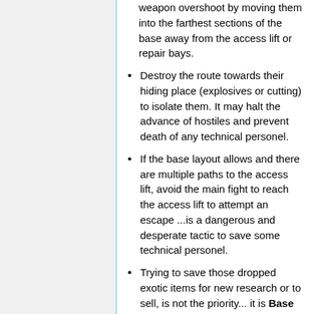weapon overshoot by moving them into the farthest sections of the base away from the access lift or repair bays.
Destroy the route towards their hiding place (explosives or cutting) to isolate them. It may halt the advance of hostiles and prevent death of any technical personel.
If the base layout allows and there are multiple paths to the access lift, avoid the main fight to reach the access lift to attempt an escape ...is a dangerous and desperate tactic to save some technical personel.
Trying to save those dropped exotic items for new research or to sell, is not the priority... it is Base Defense!.
Theft Of Funds